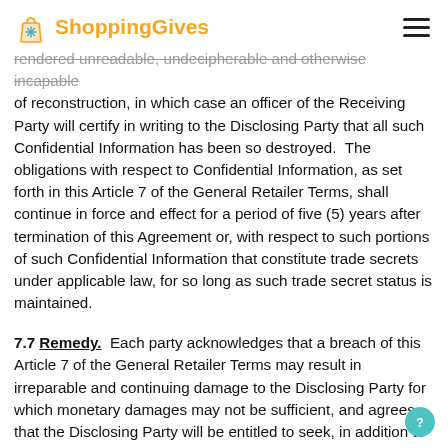ShoppingGives
rendered unreadable, undecipherable and otherwise incapable of reconstruction, in which case an officer of the Receiving Party will certify in writing to the Disclosing Party that all such Confidential Information has been so destroyed.  The obligations with respect to Confidential Information, as set forth in this Article 7 of the General Retailer Terms, shall continue in force and effect for a period of five (5) years after termination of this Agreement or, with respect to such portions of such Confidential Information that constitute trade secrets under applicable law, for so long as such trade secret status is maintained.
7.7 Remedy.  Each party acknowledges that a breach of this Article 7 of the General Retailer Terms may result in irreparable and continuing damage to the Disclosing Party for which monetary damages may not be sufficient, and agrees that the Disclosing Party will be entitled to seek, in addition to its other